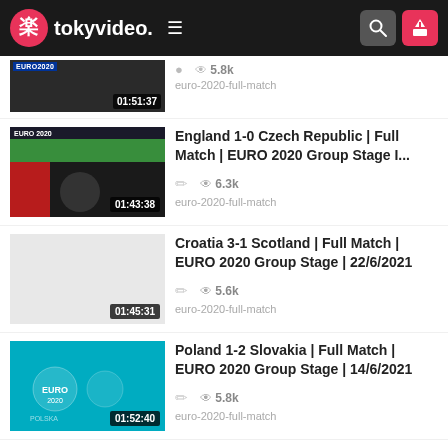tokyvideo.
[Figure (screenshot): Partial video thumbnail with EURO 2020 overlay, duration 01:51:37]
5.8k
euro-2020-full-match
[Figure (screenshot): England vs Czech Republic match thumbnail, duration 01:43:38]
England 1-0 Czech Republic | Full Match | EURO 2020 Group Stage I...
6.3k
euro-2020-full-match
[Figure (screenshot): Croatia vs Scotland thumbnail (light grey), duration 01:45:31]
Croatia 3-1 Scotland | Full Match | EURO 2020 Group Stage | 22/6/2021
5.6k
euro-2020-full-match
[Figure (screenshot): Poland vs Slovakia thumbnail with EURO 2020 logo on teal background, duration 01:52:40]
Poland 1-2 Slovakia | Full Match | EURO 2020 Group Stage | 14/6/2021
5.8k
euro-2020-full-match
[Figure (screenshot): Italy vs Switzerland highlights thumbnail]
Highlights Italy vs Switzerland (3-0) | Euro 2020 | Group Stage